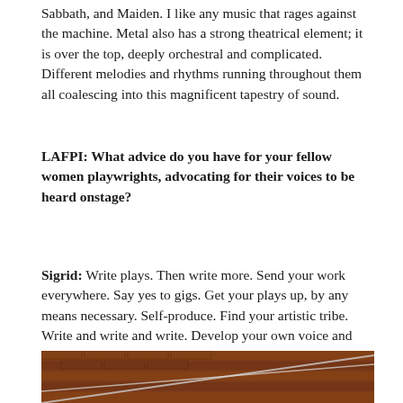Sabbath, and Maiden.  I like any music that rages against the machine.  Metal also has a strong theatrical element; it is over the top, deeply orchestral and complicated. Different melodies and rhythms running throughout them all coalescing into this magnificent tapestry of sound.
LAFPI:  What advice do you have for your fellow women playwrights, advocating for their voices to be heard onstage?
Sigrid: Write plays. Then write more. Send your work everywhere. Say yes to gigs. Get your plays up, by any means necessary. Self-produce. Find your artistic tribe. Write and write and write. Develop your own voice and view of the world until it screams. Until it is undeniable. Nurture your desires and idiosyncrasies. Create your own space. Write. Write. Write.
[Figure (photo): A photo showing a brick wall with diagonal lines or cables across it, partially visible at the bottom of the page.]